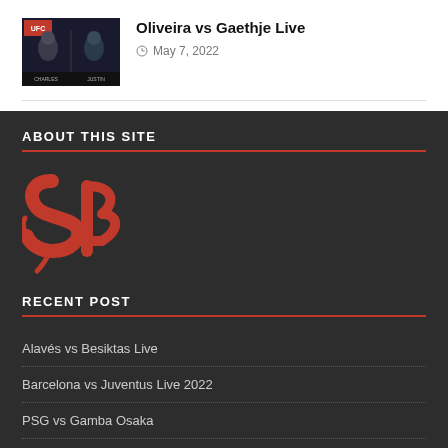[Figure (photo): UFC fight promotional image showing two fighters: Charles Oliveira and Justin Gaethje]
Oliveira vs Gaethje Live
May 7, 2022
ABOUT THIS SITE
[Figure (logo): Red decorative SP logo on dark background]
RECENT POST
Alavés vs Besiktas Live
Barcelona vs Juventus Live 2022
PSG vs Gamba Osaka
Lens vs Inter Live